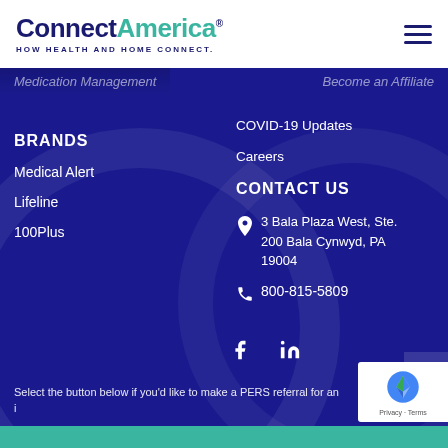[Figure (logo): ConnectAmerica logo with tagline HOW HEALTH AND HOME CONNECT.]
Medication Management
Become an Affiliate
COVID-19 Updates
Careers
BRANDS
Medical Alert
Lifeline
100Plus
CONTACT US
3 Bala Plaza West, Ste. 200 Bala Cynwyd, PA 19004
800-815-5809
Select the button below if you'd like to make a PERS referral for an i...